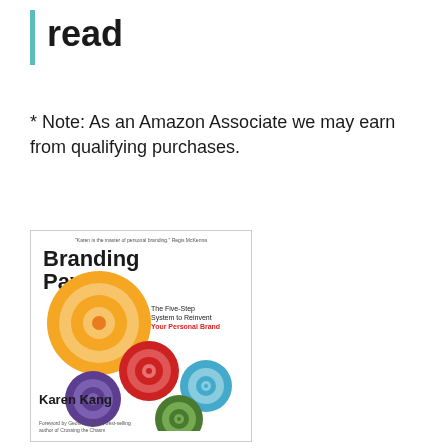read
* Note: As an Amazon Associate we may earn from qualifying purchases.
[Figure (illustration): Book cover of 'Branding Pays: The Five-Step System to Reinvent Your Personal Brand' by Karen Kang, featuring colorful concentric circle designs in orange, red, purple, teal, and green on a white background.]